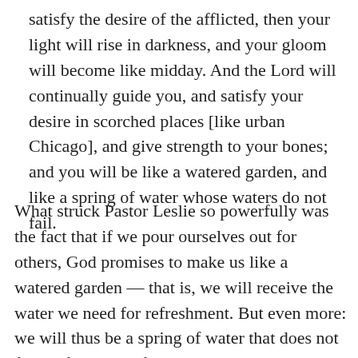satisfy the desire of the afflicted, then your light will rise in darkness, and your gloom will become like midday. And the Lord will continually guide you, and satisfy your desire in scorched places [like urban Chicago], and give strength to your bones; and you will be like a watered garden, and like a spring of water whose waters do not fail.
What struck Pastor Leslie so powerfully was the fact that if we pour ourselves out for others, God promises to make us like a watered garden — that is, we will receive the water we need for refreshment. But even more: we will thus be a spring of water that does not fail — for others, for the demanding, exhausting, draining ministry of